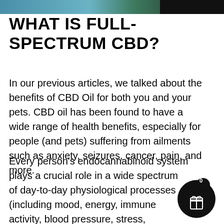[Figure (photo): Top banner image showing partial view of a blue/green nature scene, cropped at top of page]
WHAT IS FULL-SPECTRUM CBD?
In our previous articles, we talked about the benefits of CBD Oil for both you and your pets. CBD oil has been found to have a wide range of health benefits, especially for people (and pets) suffering from ailments such as anxiety, seizures, cancer, pain, and more.
Every person's endocannabinoid system plays a crucial role in a wide spectrum of day-to-day physiological processes (including mood, energy, immune activity, blood pressure, stress, metabolism, pain experience, and more). Our
[Figure (illustration): Black circular gift/coupon badge with number 0 and gift box icon, positioned bottom right corner]